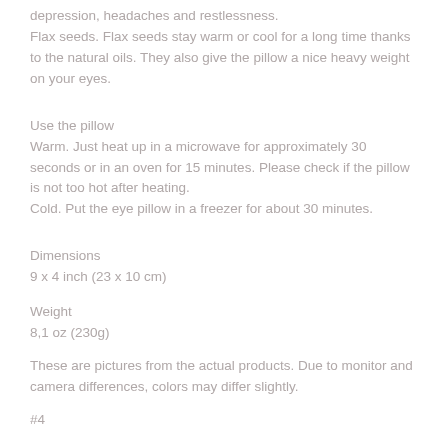depression, headaches and restlessness. Flax seeds. Flax seeds stay warm or cool for a long time thanks to the natural oils. They also give the pillow a nice heavy weight on your eyes.
Use the pillow
Warm. Just heat up in a microwave for approximately 30 seconds or in an oven for 15 minutes. Please check if the pillow is not too hot after heating.
Cold. Put the eye pillow in a freezer for about 30 minutes.
Dimensions
9 x 4 inch (23 x 10 cm)
Weight
8,1 oz (230g)
These are pictures from the actual products. Due to monitor and camera differences, colors may differ slightly.
#4